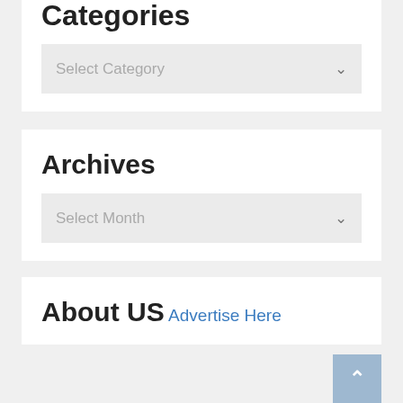Categories
[Figure (screenshot): Select Category dropdown UI element with chevron arrow]
Archives
[Figure (screenshot): Select Month dropdown UI element with chevron arrow]
About US
Advertise Here